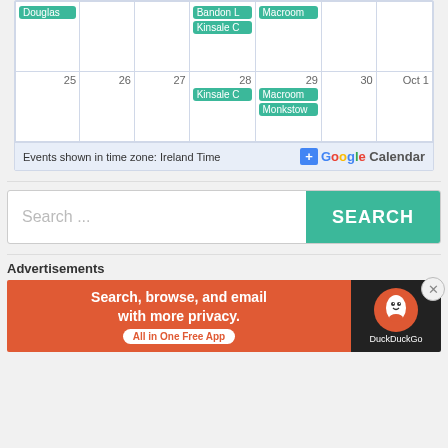[Figure (screenshot): Calendar grid showing September 25-30 and Oct 1, with events: Douglas (row 1 col 1), Bandon L and Kinsale C (row 1 col 4/5), Macroom (row 1 col 5), Kinsale C and Macroom and Monkstow (row 2). Footer shows 'Events shown in time zone: Ireland Time' and Google Calendar badge.]
Events shown in time zone: Ireland Time
Search ...
SEARCH
Advertisements
[Figure (screenshot): DuckDuckGo advertisement banner: orange left side with text 'Search, browse, and email with more privacy. All in One Free App', dark right side with DuckDuckGo logo.]